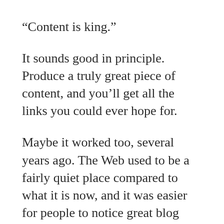“Content is king.”
It sounds good in principle. Produce a truly great piece of content, and you’ll get all the links you could ever hope for.
Maybe it worked too, several years ago. The Web used to be a fairly quiet place compared to what it is now, and it was easier for people to notice great blog posts.
But not anymore.
Now great is no longer good enough. The Web is full of so much remarkable content